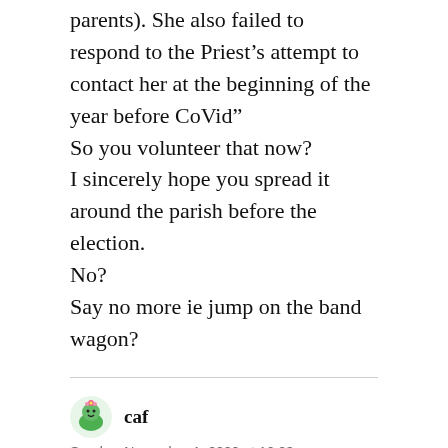parents). She also failed to respond to the Priest’s attempt to contact her at the beginning of the year before CoVid"
So you volunteer that now?
I sincerely hope you spread it around the parish before the election.
No?
Say no more ie jump on the band wagon?
caf
Sunday, November 1, 2020 at 12:23 am
Frickeg:
The Greens’ retention record survives